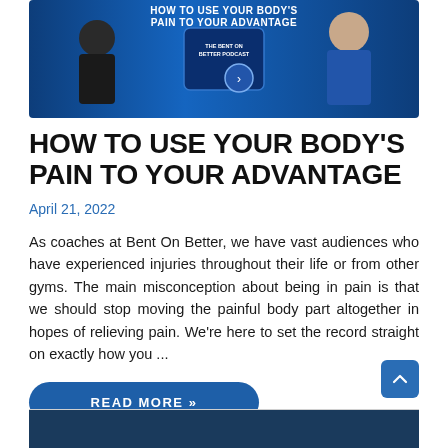[Figure (photo): Banner image showing two people with text 'HOW TO USE YOUR BODY'S PAIN TO YOUR ADVANTAGE' and 'THE BENT ON BETTER PODCAST' on a blue background]
HOW TO USE YOUR BODY'S PAIN TO YOUR ADVANTAGE
April 21, 2022
As coaches at Bent On Better, we have vast audiences who have experienced injuries throughout their life or from other gyms. The main misconception about being in pain is that we should stop moving the painful body part altogether in hopes of relieving pain. We're here to set the record straight on exactly how you ...
READ MORE »